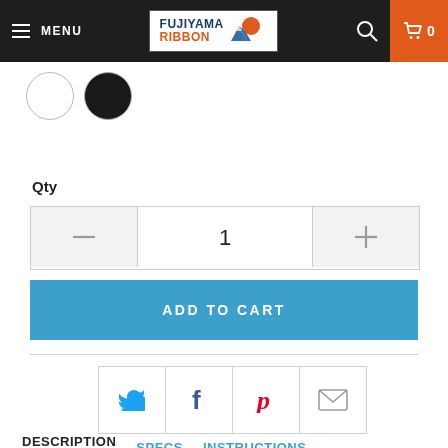[Figure (screenshot): E-commerce product page for Fujiyama Ribbon with navigation header, color swatches, quantity selector, add to cart button, share icons, and description tab]
Qty
1
ADD TO CART
DESCRIPTION  SPECS  INSTRUCTIONS
Distinct sturdiness that maintains its shape and durability!